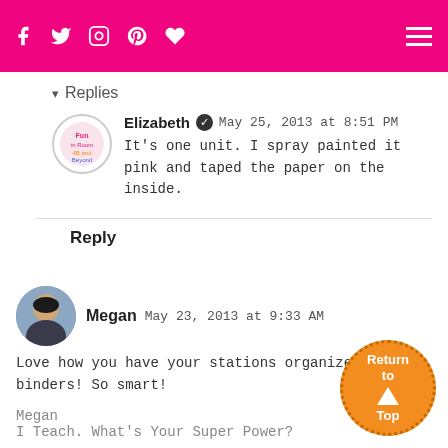f  t  Instagram  p  ♥  [hamburger menu]
▾ Replies
Elizabeth ✓  May 25, 2013 at 8:51 PM
It's one unit. I spray painted it pink and taped the paper on the inside.
Reply
Megan  May 23, 2013 at 9:33 AM
Love how you have your stations organized in binders! So smart!

Megan
I Teach. What's Your Super Power?